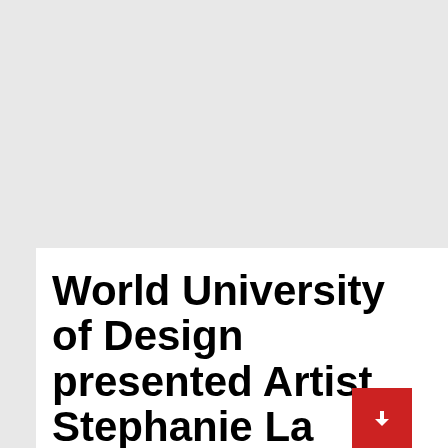World University of Design presented Artist Stephanie La Beller Arpels with 2021 Critics' Choice